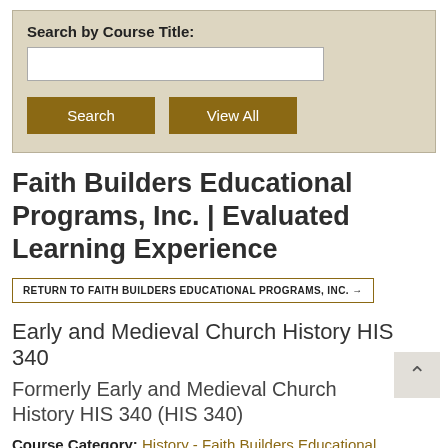Search by Course Title:
Search | View All
Faith Builders Educational Programs, Inc. | Evaluated Learning Experience
RETURN TO FAITH BUILDERS EDUCATIONAL PROGRAMS, INC. →
Early and Medieval Church History HIS 340
Formerly Early and Medieval Church History HIS 340 (HIS 340)
Course Category: History - Faith Builders Educational